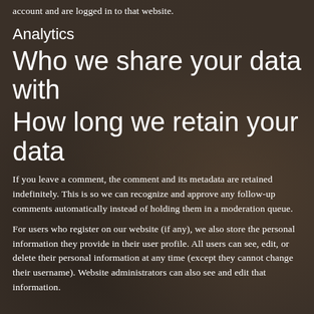account and are logged in to that website.
Analytics
Who we share your data with
How long we retain your data
If you leave a comment, the comment and its metadata are retained indefinitely. This is so we can recognize and approve any follow-up comments automatically instead of holding them in a moderation queue.
For users who register on our website (if any), we also store the personal information they provide in their user profile. All users can see, edit, or delete their personal information at any time (except they cannot change their username). Website administrators can also see and edit that information.